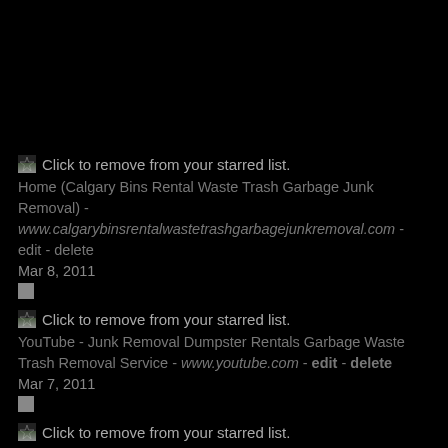Click to remove from your starred list. Home (Calgary Bins Rental Waste Trash Garbage Junk Removal) - www.calgarybinsrentalwastetrashgarbagejunkremoval.com - edit - delete Mar 8, 2011
Click to remove from your starred list. YouTube - Junk Removal Dumpster Rentals Garbage Waste Trash Removal Service - www.youtube.com - edit - delete Mar 7, 2011
Click to remove from your starred list.